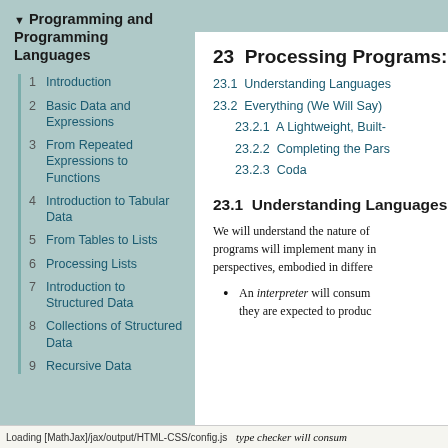Programming and Programming Languages
1 Introduction
2 Basic Data and Expressions
3 From Repeated Expressions to Functions
4 Introduction to Tabular Data
5 From Tables to Lists
6 Processing Lists
7 Introduction to Structured Data
8 Collections of Structured Data
9 Recursive Data
23  Processing Programs: P
23.1  Understanding Languages
23.2  Everything (We Will Say)
23.2.1  A Lightweight, Built-
23.2.2  Completing the Pars
23.2.3  Coda
23.1  Understanding Languages
We will understand the nature of programs will implement many in perspectives, embodied in diffe
An interpreter will consum they are expected to produ
Loading [MathJax]/jax/output/HTML-CSS/config.js    type checker will consum